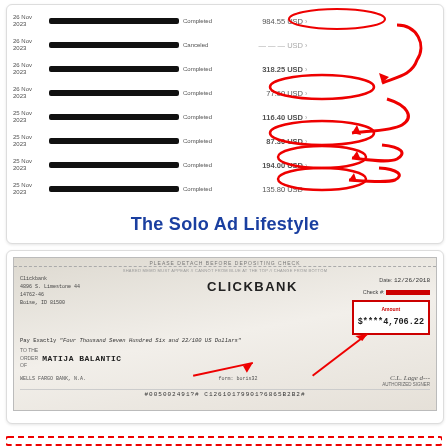[Figure (screenshot): Screenshot of transaction history showing multiple payments with dates (26 Nov 2023, 25 Nov 2023), statuses (Completed, Canceled), and amounts: 984.55 USD, 318.25 USD (circled), 77.60 USD, 116.40 USD (circled), 87.30 USD (circled), 194.00 USD (circled), 135.80 USD. Red circles and arrows highlight certain amounts.]
The Solo Ad Lifestyle
[Figure (photo): Photo of a ClickBank check dated 12/26/2018, made out to MATIJA BALANTIC for Four Thousand Seven Hundred Six and 22/100 US Dollars, amount $****4,706.22, drawn on Wells Fargo Bank N.A., with MICR line #005002491?# C12610179901?6865B2B2#]
[Figure (other): Red dashed border frame at bottom of page (partially visible)]